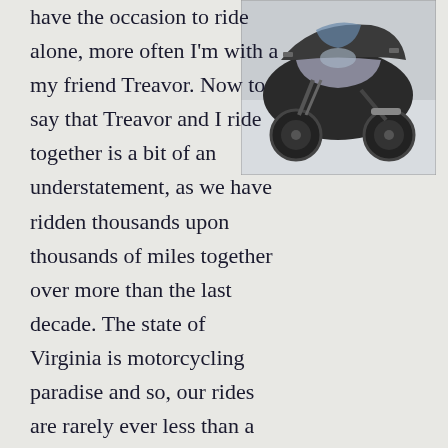[Figure (photo): Close-up photograph of a motorcycle, showing the front fairing and body of a dark/silver sport-touring motorcycle against a light background.]
have the occasion to ride alone, more often I'm with a my friend Treavor. Now to say that Treavor and I ride together is a bit of an understatement, as we have ridden thousands upon thousands of miles together over more than the last decade. The state of Virginia is motorcycling paradise and so, our rides are rarely ever less than a couple hundred miles